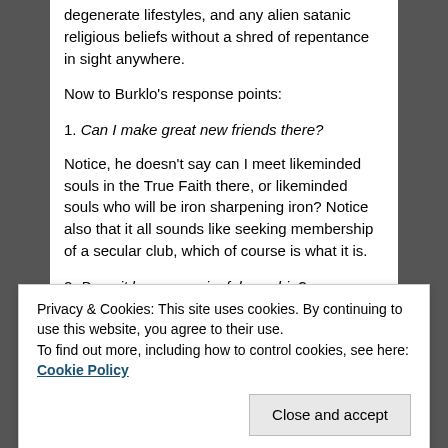degenerate lifestyles, and any alien satanic religious beliefs without a shred of repentance in sight anywhere.
Now to Burklo's response points:
1. Can I make great new friends there?
Notice, he doesn't say can I meet likeminded souls in the True Faith there, or likeminded souls who will be iron sharpening iron? Notice also that it all sounds like seeking membership of a secular club, which of course is what it is.
2. Does it have meaningful worship?
Privacy & Cookies: This site uses cookies. By continuing to use this website, you agree to their use.
To find out more, including how to control cookies, see here: Cookie Policy
rewrite it to suit their own satanic worldly Cultural Jew...